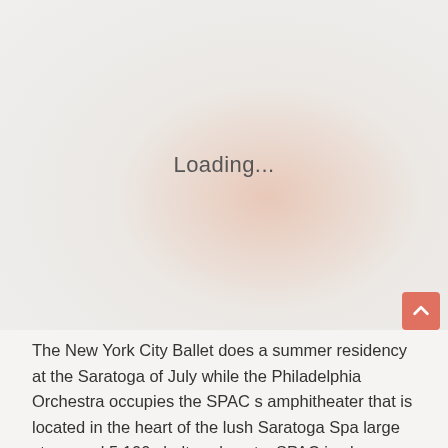[Figure (photo): Image loading placeholder with soft warm gradient background showing 'Loading...' text in the center]
The New York City Ballet does a summer residency at the Saratoga of July while the Philadelphia Orchestra occupies the SPAC s... amphitheater that is located in the heart of the lush Saratoga Spa large stage and 5,100 sheltered seats. SPAC is also known for its s...